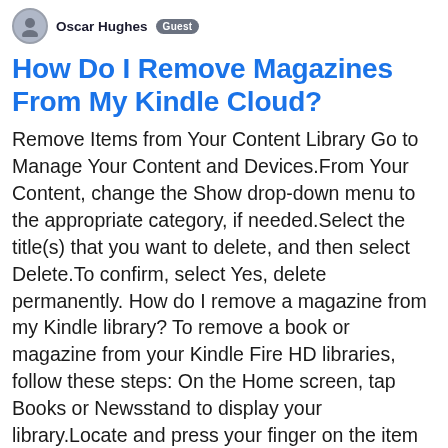Oscar Hughes  Guest
How Do I Remove Magazines From My Kindle Cloud?
Remove Items from Your Content Library Go to Manage Your Content and Devices.From Your Content, change the Show drop-down menu to the appropriate category, if needed.Select the title(s) that you want to delete, and then select Delete.To confirm, select Yes, delete permanently. How do I remove a magazine from my Kindle library? To remove a book or magazine from your Kindle Fire HD libraries, follow these steps: On the Home screen, tap Books or Newsstand to display your library.Locate and press your finger on the item you want to remove. A menu appears.Tap Remove from Device. How do I delete magazines from Amazon cloud? 0:00 0:37 Suggested clip · 29 seconds How to Delete Books from